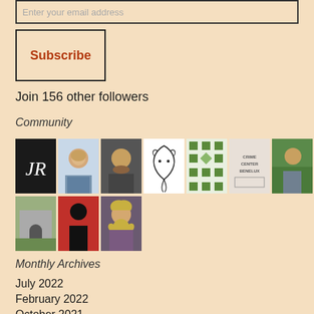Enter your email address
Subscribe
Join 156 other followers
Community
[Figure (photo): Grid of community follower avatar images, two rows: first row has 7 avatars including a monogram JR, an older man, a bearded man, a dragon illustration, a geometric green pattern, a text logo, and a man outdoors; second row has 3 avatars: a stone building, a figure in costume, and a blonde woman.]
Monthly Archives
July 2022
February 2022
October 2021